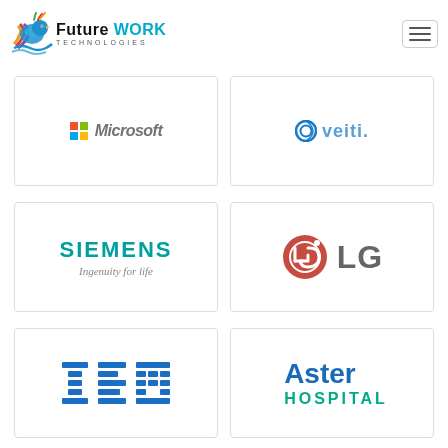[Figure (logo): Future Work Technologies logo with colorful bird and teal text]
[Figure (logo): Microsoft logo - italic bold grey text with colored grid squares]
[Figure (logo): Veith/Veiti logo with blue circular icon and blue text]
[Figure (logo): Siemens logo - teal bold text with tagline Ingenuity for Life]
[Figure (logo): LG logo - red circle with LG text and grey LG letters]
[Figure (logo): IBM logo - blue horizontal striped letters IBM]
[Figure (logo): Aster Hospital logo - blue Aster text and teal HOSPITAL text]